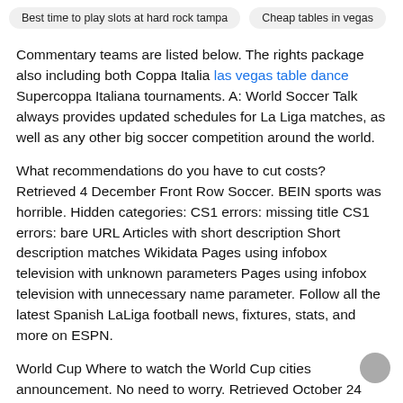Best time to play slots at hard rock tampa   Cheap tables in vegas
Commentary teams are listed below. The rights package also including both Coppa Italia las vegas table dance Supercoppa Italiana tournaments. A: World Soccer Talk always provides updated schedules for La Liga matches, as well as any other big soccer competition around the world.
What recommendations do you have to cut costs? Retrieved 4 December Front Row Soccer. BEIN sports was horrible. Hidden categories: CS1 errors: missing title CS1 errors: bare URL Articles with short description Short description matches Wikidata Pages using infobox television with unknown parameters Pages using infobox television with unnecessary name parameter. Follow all the latest Spanish LaLiga football news, fixtures, stats, and more on ESPN.
World Cup Where to watch the World Cup cities announcement. No need to worry. Retrieved October 24